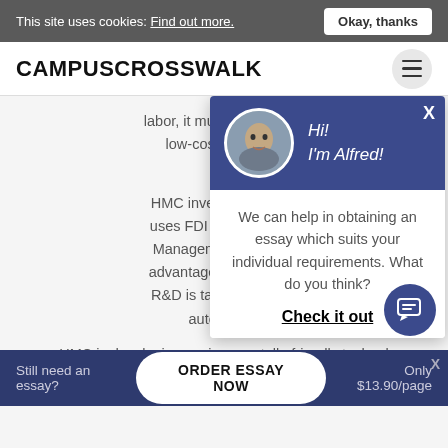This site uses cookies: Find out more. | Okay, thanks
CAMPUSCROSSWALK
labor, it must also source low-cost input goods elsewhere
HMC invests heavily in ... uses FDI to develop key ... Management chooses ... advantages they can bring ... R&D is targeted to develop ... automobiles
HMC is developing environmentally-friendly technologies that emphasize fuel efficiency. HMC conducts market...
[Figure (screenshot): Chat popup with Alfred avatar saying Hi! I'm Alfred! and offer: We can help in obtaining an essay which suits your individual requirements. What do you think? Check it out]
Still need an essay? | ORDER ESSAY NOW | Only $13.90/page